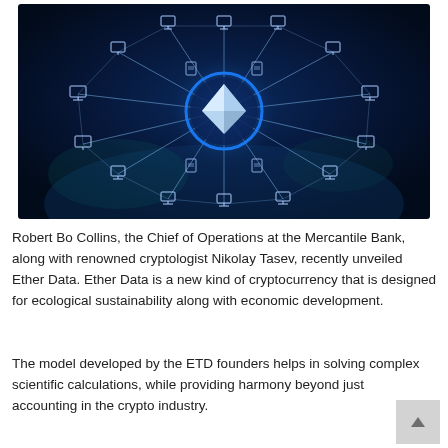[Figure (illustration): A dark blue network/blockchain visualization showing interconnected nodes with computer and document icons, centered on a glowing blue circle with a white geometric diamond/crystal shape. Background shows a stylized Earth globe.]
Robert Bo Collins, the Chief of Operations at the Mercantile Bank, along with renowned cryptologist Nikolay Tasev, recently unveiled Ether Data. Ether Data is a new kind of cryptocurrency that is designed for ecological sustainability along with economic development.
The model developed by the ETD founders helps in solving complex scientific calculations, while providing harmony beyond just accounting in the crypto industry.